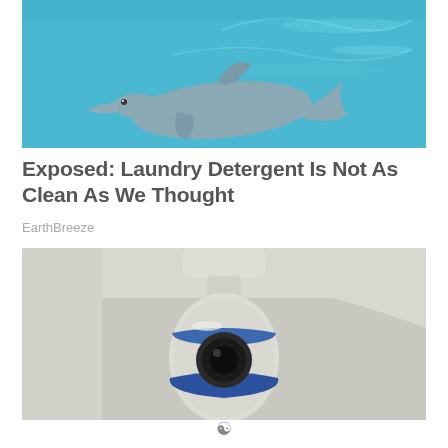[Figure (photo): Underwater photo of a dolphin swimming in blue-tinted water]
Exposed: Laundry Detergent Is Not As Clean As We Thought
EarthBreeze
[Figure (photo): Close-up photo of a white and blue security camera or robotic device]